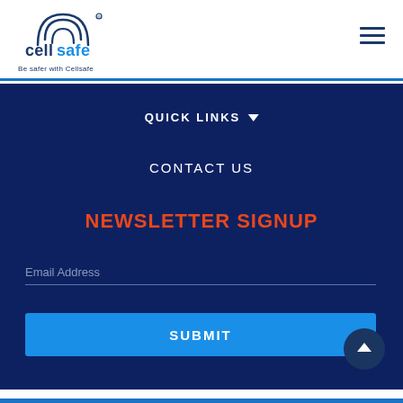[Figure (logo): Cellsafe logo with circular signal waves above text and tagline 'Be safer with Cellsafe']
QUICK LINKS ▼
CONTACT US
NEWSLETTER SIGNUP
Email Address
SUBMIT